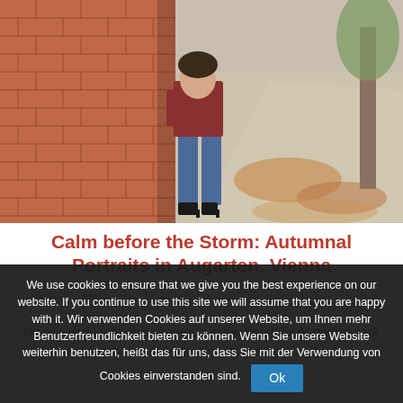[Figure (photo): Photograph of a person walking beside a brick wall in a park, wearing jeans and heels, with autumn leaves on the ground]
Calm before the Storm: Autumnal Portraits in Augarten, Vienna
Posted on Thursday September 5th, 2019
Bianca and I met one afternoon in the beautiful Augarten park in Vienna's second district. By the time we had
We use cookies to ensure that we give you the best experience on our website. If you continue to use this site we will assume that you are happy with it. Wir verwenden Cookies auf unserer Website, um Ihnen mehr Benutzerfreundlichkeit bieten zu können. Wenn Sie unsere Website weiterhin benutzen, heißt das für uns, dass Sie mit der Verwendung von Cookies einverstanden sind.